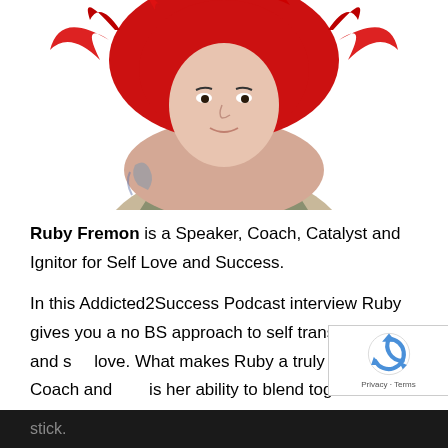[Figure (photo): A woman with bright red hair wearing a light olive/khaki spaghetti-strap top, visible tattoo on left arm, photographed from the shoulders up against a white background. Only the lower portion of the photo is visible (cropped at top).]
Ruby Fremon is a Speaker, Coach, Catalyst and Ignitor for Self Love and Success.
In this Addicted2Success Podcast interview Ruby gives you a no BS approach to self transformation and self love. What makes Ruby a truly dynamic Coach and is her ability to blend together practicality with spirituality. This fusion helps her clients create massive life shifts that stick.
stick.